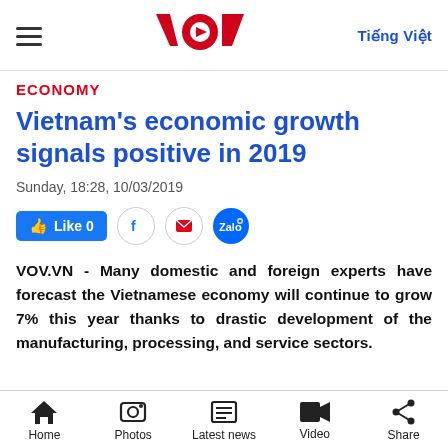VOV — Tiếng Việt
ECONOMY
Vietnam's economic growth signals positive in 2019
Sunday, 18:28, 10/03/2019
VOV.VN - Many domestic and foreign experts have forecast the Vietnamese economy will continue to grow 7% this year thanks to drastic development of the manufacturing, processing, and service sectors.
Home  Photos  Latest news  Video  Share